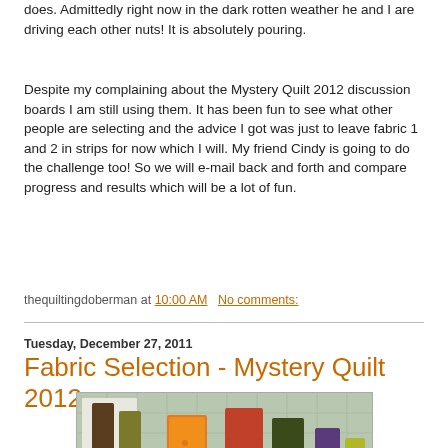does. Admittedly right now in the dark rotten weather he and I are driving each other nuts! It is absolutely pouring.
Despite my complaining about the Mystery Quilt 2012 discussion boards I am still using them. It has been fun to see what other people are selecting and the advice I got was just to leave fabric 1 and 2 in strips for now which I will. My friend Cindy is going to do the challenge too! So we will e-mail back and forth and compare progress and results which will be a lot of fun.
thequiltingdoberman at 10:00 AM   No comments:
Tuesday, December 27, 2011
Fabric Selection - Mystery Quilt 2012
[Figure (photo): Photo of fabric strips in various colors including brown, olive/yellow, orange, red, dark green, and purple/yellow arranged on a cutting mat]